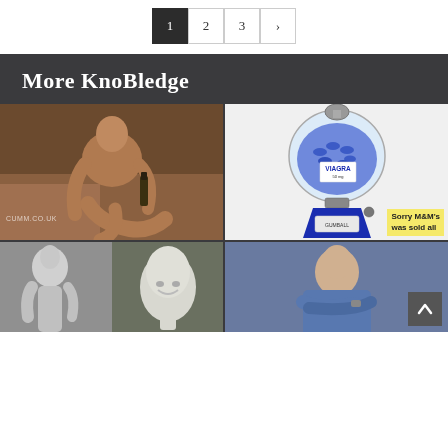1  2  3  >
More KnoBledge
[Figure (photo): Shirtless man sitting on couch holding a bottle, watermark CUMM.CO.UK]
[Figure (photo): Gumball machine filled with blue Viagra pills with sticky note reading 'Sorry M&M's was sold all']
[Figure (photo): Black and white photo of muscular statue and head sculpture]
[Figure (photo): Man in blue shirt with arms crossed, back-to-top arrow button overlay]